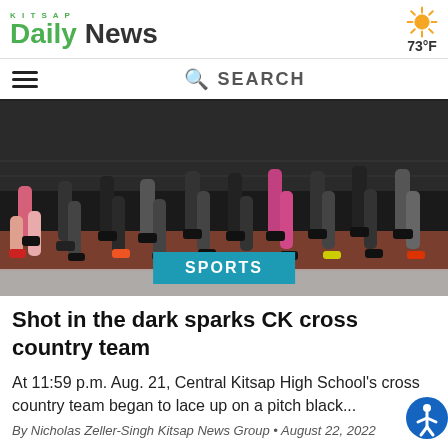KITSAP Daily News — 73°F
[Figure (photo): Group of female runners' legs on a track at night, cross country race start]
SPORTS
Shot in the dark sparks CK cross country team
At 11:59 p.m. Aug. 21, Central Kitsap High School's cross country team began to lace up on a pitch black...
By Nicholas Zeller-Singh Kitsap News Group • August 22, 2022